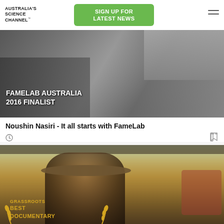AUSTRALIA'S SCIENCE CHANNEL™
SIGN UP FOR LATEST NEWS
[Figure (photo): Black and white photo of a scientist/researcher in a laboratory with equipment and a printer, with overlay text 'FAMELAB AUSTRALIA 2016 FINALIST']
Noushin Nasiri - It all starts with FameLab
[Figure (photo): Colour photo of a farmer wearing a wide-brimmed hat sitting in a tractor cab looking out over a field, with a red tractor in the background. Overlay shows 'GRASSROOTS BEST DOCUMENTARY' text with wheat wreath motif.]